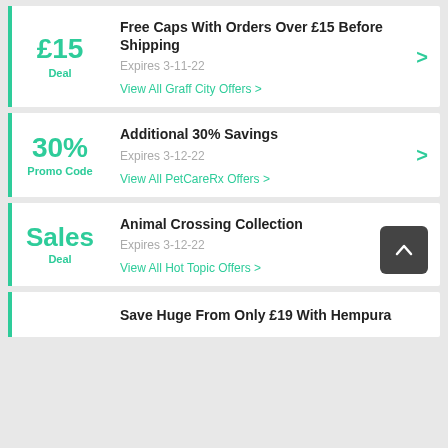£15 Deal
Free Caps With Orders Over £15 Before Shipping
Expires 3-11-22
View All Graff City Offers >
30% Promo Code
Additional 30% Savings
Expires 3-12-22
View All PetCareRx Offers >
Sales Deal
Animal Crossing Collection
Expires 3-12-22
View All Hot Topic Offers >
Save Huge From Only £19 With Hempura